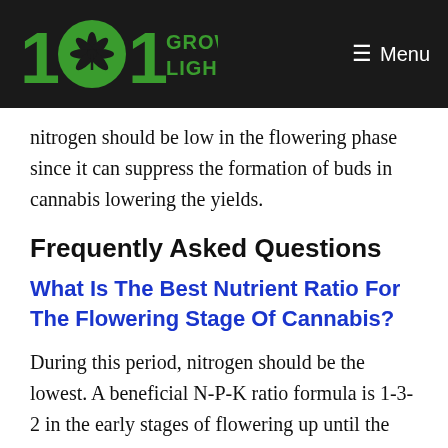101 Grow Lights — Menu
nitrogen should be low in the flowering phase since it can suppress the formation of buds in cannabis lowering the yields.
Frequently Asked Questions
What Is The Best Nutrient Ratio For The Flowering Stage Of Cannabis?
During this period, nitrogen should be the lowest. A beneficial N-P-K ratio formula is 1-3-2 in the early stages of flowering up until the mid-blooming stage and a 0-3-3 in the last stages of blooming. Finally,